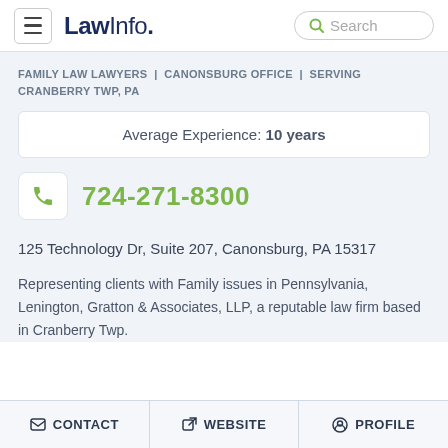LawInfo — Search
FAMILY LAW LAWYERS | CANONSBURG OFFICE | SERVING CRANBERRY TWP, PA
Average Experience: 10 years
724-271-8300
125 Technology Dr, Suite 207, Canonsburg, PA 15317
Representing clients with Family issues in Pennsylvania, Lenington, Gratton & Associates, LLP, a reputable law firm based in Cranberry Twp.
CONTACT | WEBSITE | PROFILE